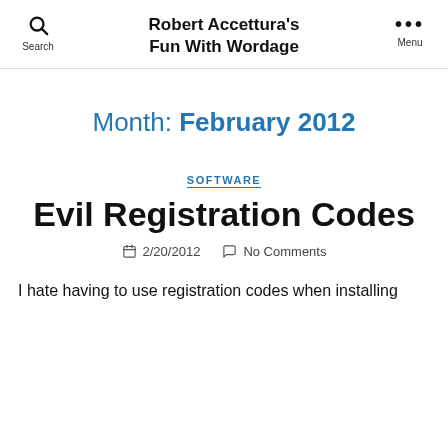Robert Accettura's Fun With Wordage
Month: February 2012
SOFTWARE
Evil Registration Codes
2/20/2012   No Comments
I hate having to use registration codes when installing